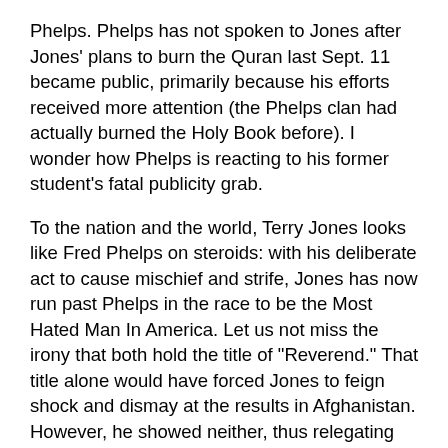Phelps. Phelps has not spoken to Jones after Jones' plans to burn the Quran last Sept. 11 became public, primarily because his efforts received more attention (the Phelps clan had actually burned the Holy Book before). I wonder how Phelps is reacting to his former student's fatal publicity grab.
To the nation and the world, Terry Jones looks like Fred Phelps on steroids: with his deliberate act to cause mischief and strife, Jones has now run past Phelps in the race to be the Most Hated Man In America. Let us not miss the irony that both hold the title of "Reverend." That title alone would have forced Jones to feign shock and dismay at the results in Afghanistan. However, he showed neither, thus relegating him to the status of  self-righteous, cold-blooded killer. His ubiquitous statement to ABC News ...
"Of course we were very saddened and devastated by that," he told ABC News. "It is of course a terrible thing anytime anyone